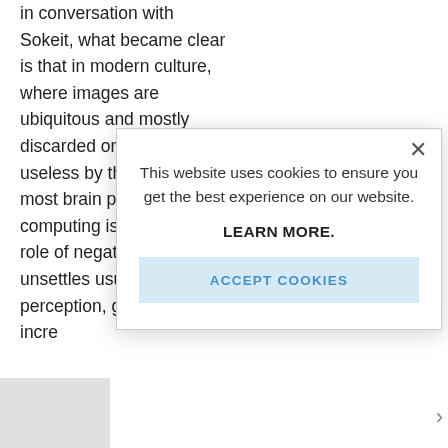in conversation with Sokeit, what became clear is that in modern culture, where images are ubiquitous and mostly discarded or filtered as useless by the brain (and most brain processing and computing is visual), the role of negative images unsettles usual or familiar perception, giving rise to incre
For i that once
This shad X-ra
[Figure (screenshot): Cookie consent modal dialog with close button (×), message 'This website uses cookies to ensure you get the best experience on our website.', bold text 'LEARN MORE.', and a light blue 'ACCEPT COOKIES' button.]